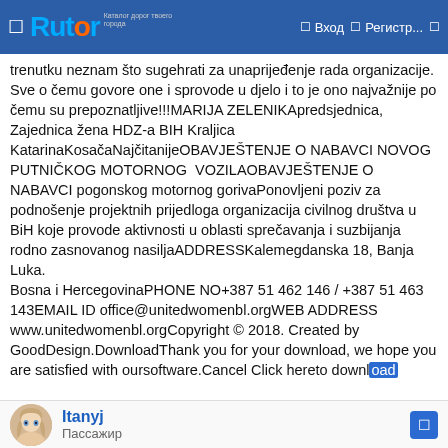Rutor – Вход – Регистр...
trenutku neznam što sugеhrati za unaprijeđenje rada organizacije. Sve o čemu govore one i sprovode u djelo i to je ono najvažnije po čemu su prepoznatljive!!!MARIJA ZELENIKApredsjednica, Zajednica žena HDZ-a BIH Kraljica KatarinaKosačaNajčitanijeOBAVJEŠTENJE O NABAVCI NOVOG PUTNIČKOG MOTORNOG VOZILAOBAVJEŠTENJE O NABAVCI pogonskog motornog gorivaPonovljeni poziv za podnošenje projektnih prijedloga organizacija civilnog društva u BiH koje provode aktivnosti u oblasti sprečavanja i suzbijanja rodno zasnovanog nasiljaADDRESSKalemegdanska 18, Banja Luka.
Bosna i HercegovinaPHONE NO+387 51 462 146 / +387 51 463 143EMAIL ID office@unitedwomenbl.orgWEB ADDRESS www.unitedwomenbl.orgCopyright © 2018. Created by GoodDesign.DownloadThank you for your download, we hope you are satisfied with our software.Cancel Click here to download
Itanyj
Пассажир